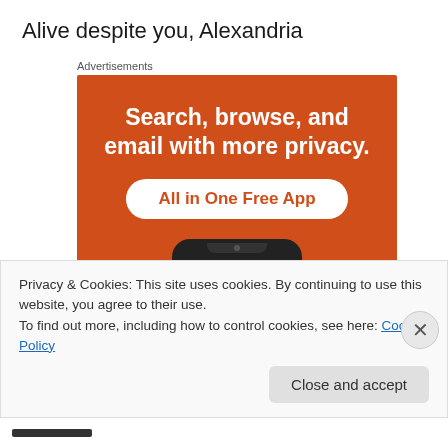Alive despite you,
Alexandria
[Figure (illustration): Advertisement banner on orange background with text 'Search, browse, and email with more privacy. All in One Free App' and a phone illustration below.]
Privacy & Cookies: This site uses cookies. By continuing to use this website, you agree to their use.
To find out more, including how to control cookies, see here: Cookie Policy